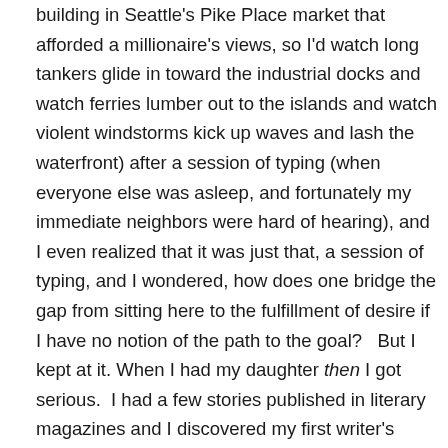building in Seattle's Pike Place market that afforded a millionaire's views, so I'd watch long tankers glide in toward the industrial docks and watch ferries lumber out to the islands and watch violent windstorms kick up waves and lash the waterfront) after a session of typing (when everyone else was asleep, and fortunately my immediate neighbors were hard of hearing), and I even realized that it was just that, a session of typing, and I wondered, how does one bridge the gap from sitting here to the fulfillment of desire if I have no notion of the path to the goal?   But I kept at it. When I had my daughter then I got serious.  I had a few stories published in literary magazines and I discovered my first writer's critique group, and then, and only then, did I begin to feel like I had the rudiments of a writer's life, but even that paled to going through the MFA program at the UW and winning an award, and seeing a few more stories published.  By then I was divorced and